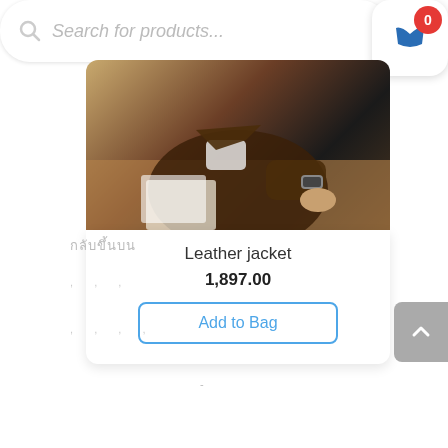[Figure (screenshot): Search bar with magnifying glass icon and placeholder text 'Search for products...']
[Figure (screenshot): Shopping cart button with red badge showing 0]
[Figure (photo): Person wearing a leather jacket, sitting at a table with a watch visible on wrist]
Leather jacket
1,897.00
Add to Bag
[Figure (screenshot): Scroll to top arrow button (grey)]
กลับขึ้นบน
Comma-separated footer link texts (illegible/placeholder)
-